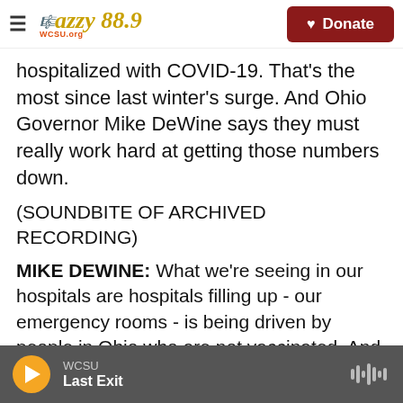≡  Jazzy 88.9 WCSU.org   [Donate]
hospitalized with COVID-19. That's the most since last winter's surge. And Ohio Governor Mike DeWine says they must really work hard at getting those numbers down.
(SOUNDBITE OF ARCHIVED RECORDING)
MIKE DEWINE: What we're seeing in our hospitals are hospitals filling up - our emergency rooms - is being driven by people in Ohio who are not vaccinated. And the numbers clearly, clearly show that.
CORLEY: And DeWine says that's why he's pushing
WCSU  Last Exit  ▶